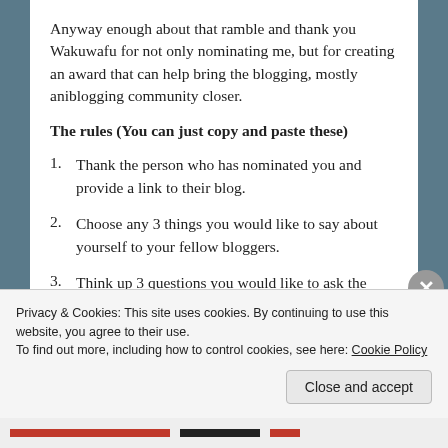Anyway enough about that ramble and thank you Wakuwafu for not only nominating me, but for creating an award that can help bring the blogging, mostly aniblogging community closer.
The rules (You can just copy and paste these)
Thank the person who has nominated you and provide a link to their blog.
Choose any 3 things you would like to say about yourself to your fellow bloggers.
Think up 3 questions you would like to ask the people you nominate.
Give one piece of advice to your fellow bloggers.
Privacy & Cookies: This site uses cookies. By continuing to use this website, you agree to their use.
To find out more, including how to control cookies, see here: Cookie Policy